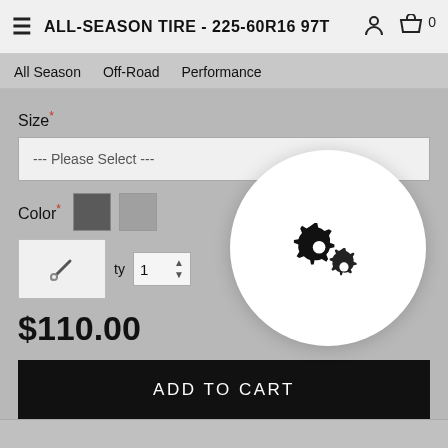ALL-SEASON TIRE - 225-60R16 97T
All Season
Off-Road
Performance
Size*
--- Please Select ---
Color*
ty  1
$110.00
ADD TO CART
[Figure (screenshot): Gear/settings icon overlay on a white circle, indicating loading or processing state]
Social share buttons: Twitter, Facebook, VK, Plus